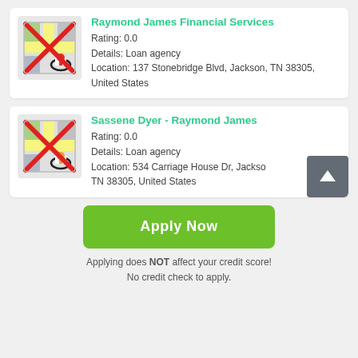[Figure (screenshot): Mobile app listing card for Raymond James Financial Services with a map icon with red X overlay, showing rating 0.0, Details: Loan agency, Location: 137 Stonebridge Blvd, Jackson, TN 38305, United States]
[Figure (screenshot): Mobile app listing card for Sassene Dyer - Raymond James with a map icon with red X overlay, showing rating 0.0, Details: Loan agency, Location: 534 Carriage House Dr, Jackson, TN 38305, United States. A dark grey scroll-to-top button with upward arrow is overlaid in the bottom right.]
[Figure (other): Green Apply Now button]
Applying does NOT affect your credit score! No credit check to apply.